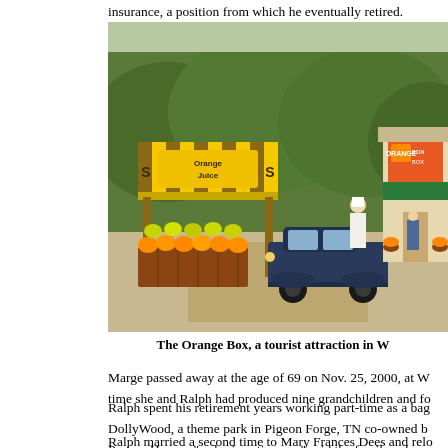insurance, a position from which he eventually retired.
[Figure (photo): Vintage illustration of The Orange Box, a roadside orange juice stand and store tourist attraction. Shows a yellow striped awning with 'Orange Juice' sign, crates of oranges, a classic 1930s-40s black automobile, and a building labeled 'Orange Box' on the right. Green trees in the background.]
The Orange Box, a tourist attraction in W
Marge passed away at the age of 69 on Nov. 25, 2000, at W time she and Ralph had produced nine grandchildren and fo
Ralph spent his retirement years working part-time as a bag DollyWood, a theme park in Pigeon Forge, TN co-owned b Parton. He was "a charismatic man," said the family, who m
Ralph married a second time to Mary Frances Dees and relo Thomasville, GA. She brought adult stepchildren into the u Smith.